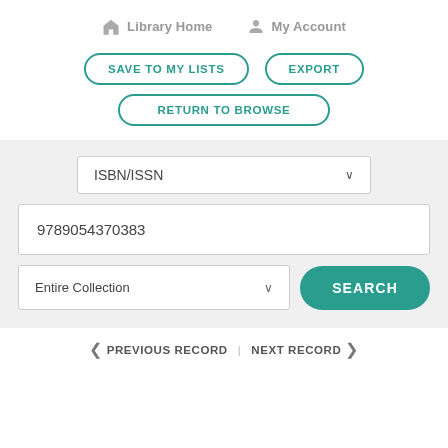Library Home   My Account
SAVE TO MY LISTS
EXPORT
RETURN TO BROWSE
[Figure (screenshot): Library catalog search interface with ISBN/ISSN dropdown, text field containing '9789054370383', Entire Collection dropdown, and SEARCH button]
< PREVIOUS RECORD | NEXT RECORD >